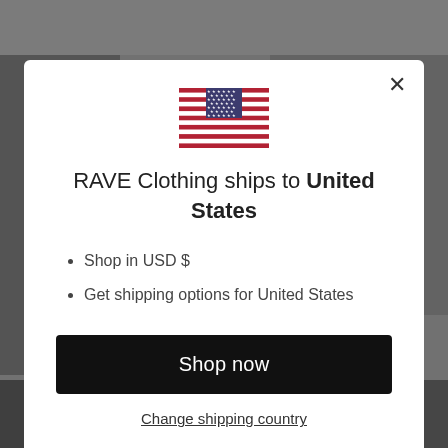[Figure (screenshot): Background: blurred e-commerce website with clothing products visible, dark overlay applied]
[Figure (illustration): US flag emoji/icon centered at top of modal]
RAVE Clothing ships to United States
Shop in USD $
Get shipping options for United States
Shop now
Change shipping country